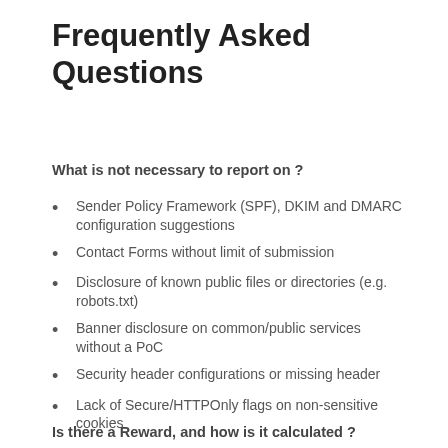Frequently Asked Questions
What is not necessary to report on ?
Sender Policy Framework (SPF), DKIM and DMARC configuration suggestions
Contact Forms without limit of submission
Disclosure of known public files or directories (e.g. robots.txt)
Banner disclosure on common/public services without a PoC
Security header configurations or missing header
Lack of Secure/HTTPOnly flags on non-sensitive cookies
Is there a Reward, and how is it calculated ?